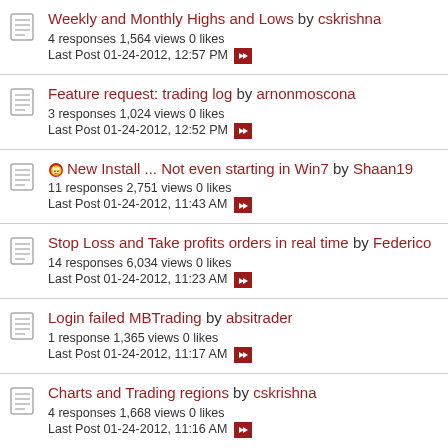Weekly and Monthly Highs and Lows by cskrishna — 4 responses 1,564 views 0 likes — Last Post 01-24-2012, 12:57 PM
Feature request: trading log by arnonmoscona — 3 responses 1,024 views 0 likes — Last Post 01-24-2012, 12:52 PM
New Install ... Not even starting in Win7 by Shaan19 — 11 responses 2,751 views 0 likes — Last Post 01-24-2012, 11:43 AM
Stop Loss and Take profits orders in real time by Federico — 14 responses 6,034 views 0 likes — Last Post 01-24-2012, 11:23 AM
Login failed MBTrading by absitrader — 1 response 1,365 views 0 likes — Last Post 01-24-2012, 11:17 AM
Charts and Trading regions by cskrishna — 4 responses 1,668 views 0 likes — Last Post 01-24-2012, 11:16 AM
Simulate Currency Conversion Interactive Broker...